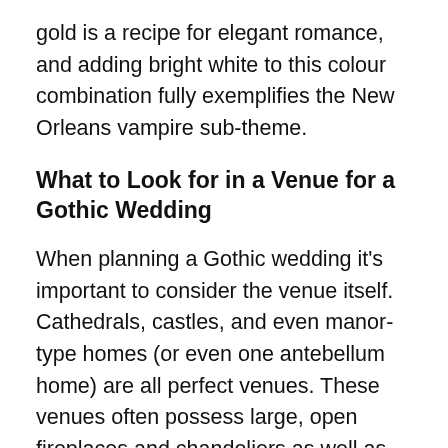gold is a recipe for elegant romance, and adding bright white to this colour combination fully exemplifies the New Orleans vampire sub-theme.
What to Look for in a Venue for a Gothic Wedding
When planning a Gothic wedding it's important to consider the venue itself. Cathedrals, castles, and even manor-type homes (or even one antebellum home) are all perfect venues. These venues often possess large, open fireplaces and chandeliers as well as stained wood and high ceilings. Any and all of these decorations lend to the Gothic theme of your wedding.
Brides may want a Gothic wedding in an outdoor